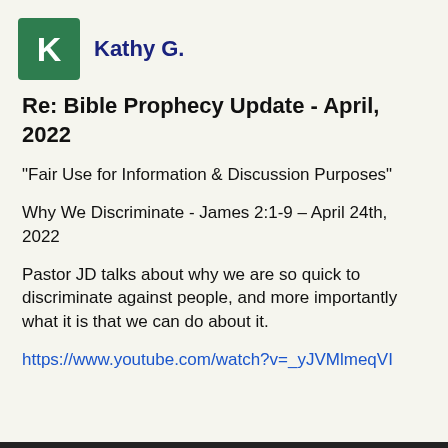Kathy G.
Re: Bible Prophecy Update - April, 2022
"Fair Use for Information & Discussion Purposes"
Why We Discriminate - James 2:1-9 – April 24th, 2022
Pastor JD talks about why we are so quick to discriminate against people, and more importantly what it is that we can do about it.
https://www.youtube.com/watch?v=_yJVMlmeqVI